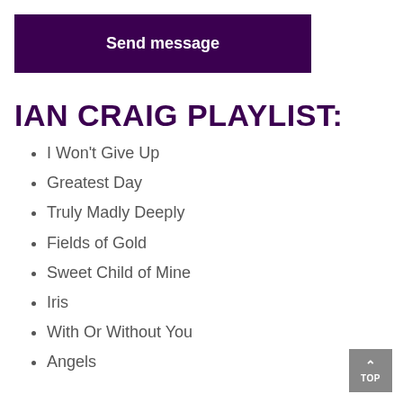Send message
IAN CRAIG PLAYLIST:
I Won't Give Up
Greatest Day
Truly Madly Deeply
Fields of Gold
Sweet Child of Mine
Iris
With Or Without You
Angels